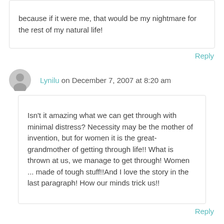because if it were me, that would be my nightmare for the rest of my natural life!
Reply
Lynilu on December 7, 2007 at 8:20 am
Isn't it amazing what we can get through with minimal distress? Necessity may be the mother of invention, but for women it is the great-grandmother of getting through life!! What is thrown at us, we manage to get through! Women ... made of tough stuff!!And I love the story in the last paragraph! How our minds trick us!!
Reply
The Daily "B" on December 7, 2007 at 2:34 pm